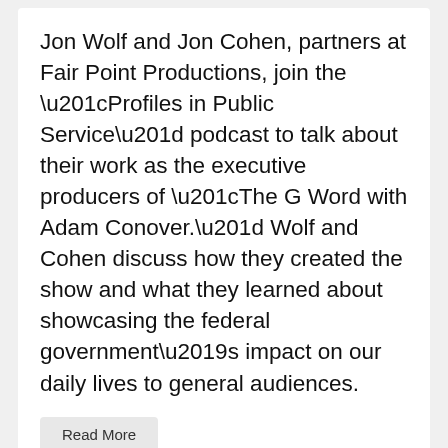Jon Wolf and Jon Cohen, partners at Fair Point Productions, join the “Profiles in Public Service” podcast to talk about their work as the executive producers of “The G Word with Adam Conover.” Wolf and Cohen discuss how they created the show and what they learned about showcasing the federal government’s impact on our daily lives to general audiences.
Read More